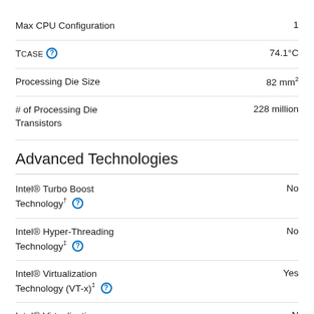Max CPU Configuration — 1
TCASE — 74.1°C
Processing Die Size — 82 mm²
# of Processing Die Transistors — 228 million
Advanced Technologies
Intel® Turbo Boost Technology† — No
Intel® Hyper-Threading Technology‡ — No
Intel® Virtualization Technology (VT-x)‡ — Yes
Intel® Virtualization — N...